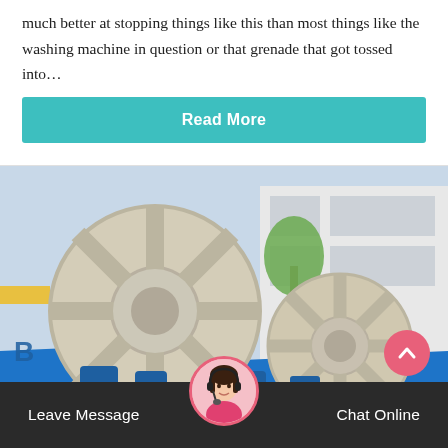much better at stopping things like this than most things like the washing machine in question or that grenade that got tossed into…
Read More
[Figure (photo): Large industrial sand washing machine with big white gear wheels and blue metal trough, parked outdoors with a building and trees in the background.]
Leave Message
Chat Online